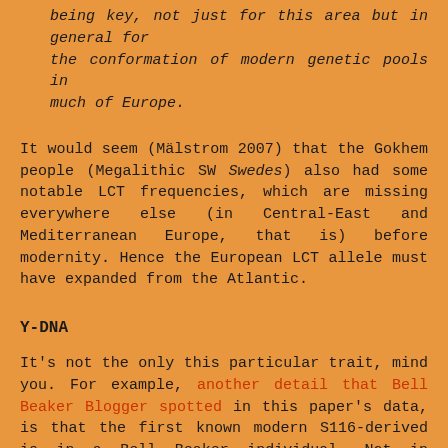being key, not just for this area but in general for the conformation of modern genetic pools in much of Europe.
It would seem (Mälstrom 2007) that the Gokhem people (Megalithic SW Swedes) also had some notable LCT frequencies, which are missing everywhere else (in Central-East and Mediterranean Europe, that is) before modernity. Hence the European LCT allele must have expanded from the Atlantic.
Y-DNA
It's not the only this particular trait, mind you. For example, another detail that Bell Beaker Blogger spotted in this paper's data, is that the first known modern S116-derived is in a Bell Beaker individual. Not in Yamnaya, not in Corded Ware, not in Unetice... but in the Bell Beaker carriers that (culturally at least) came from the Southwest.
Specifically it is R1b-U152 (alias S28), which has sometimes